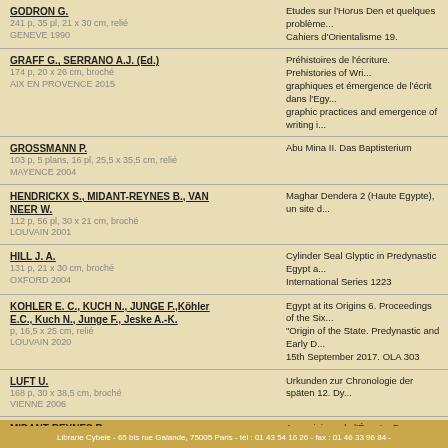GODRON G. | 241 p, 35 pl, 21 x 30 cm, relié | GENEVE 1990 | Etudes sur l'Horus Den et quelques problème... Cahiers d'Orientalisme 19.
GRAFF G., SERRANO A.J. (Ed.) | 174 p, 20 x 26 cm, broché | AIX EN PROVENCE 2015 | Préhistoires de l'écriture. Prehistories of Wri... graphiques et émergence de l'écrit dans l'Egy... graphic practices and emergence of writing i...
GROSSMANN P. | 103 p, 5 plans, 16 pl, 25,5 x 35,5 cm, relié | MAYENCE 2004 | Abu Mina II. Das Baptisterium
HENDRICKX S., MIDANT-REYNES B., VAN NEER W. | 112 p, 56 pl, 30 x 21 cm, broché | LOUVAIN 2001 | Maghar Dendera 2 (Haute Egypte), un site d...
HILL J. A. | 131 p, 21 x 30 cm, broché | OXFORD 2004 | Cylinder Seal Glyptic in Predynastic Egypt a... International Series 1223
KOHLER E. C., KUCH N., JUNGE F.,Köhler E.C., Kuch N., Junge F., Jeske A.-K. | p, 16,5 x 25 cm, relié | LOUVAIN 2020 | Egypt at its Origins 6. Proceedings of the Six... "Origin of the State. Predynastic and Early D... 15th September 2017. OLA 303
LUFT U. | 168 p, 30 x 38,5 cm, broché | VIENNE 2006 | Urkunden zur Chronologie der späten 12. Dy...
MIDANT-REYNES B. | 441 p, 16 x 24 cm, broché | PARIS 2003 | Aux origines de l'Égypte. Du Néolithique à l...
MIDANT-REYNES B., TRISTANT Y. (Ed.) | 1236 p, 16,5 x 25 cm, relié | LOUVAIN 2008 | Egypt at its Origins Volume 2. Proceedings o... "Origin of the State. Predynastic and Early D... (France), 5th-8th Sptember 2005. OLA 172
Librarie Cybele - 65 bis rue Galande, 75005 Paris - tél : 01 43 54 16 26 - fax : 01 46 33 96 84 -